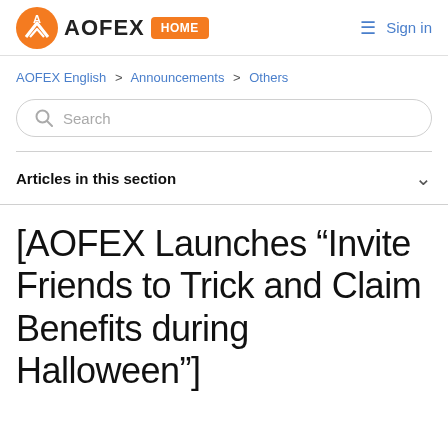AOFEX HOME Sign in
AOFEX English > Announcements > Others
Search
Articles in this section
[AOFEX Launches “Invite Friends to Trick and Claim Benefits during Halloween”]